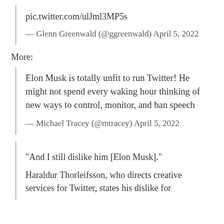pic.twitter.com/ulJml3MP5s
— Glenn Greenwald (@ggreenwald) April 5, 2022
More:
Elon Musk is totally unfit to run Twitter! He might not spend every waking hour thinking of new ways to control, monitor, and ban speech
— Michael Tracey (@mtracey) April 5, 2022
"And I still dislike him [Elon Musk]."
Haraldur Thorleifsson, who directs creative services for Twitter, states his dislike for